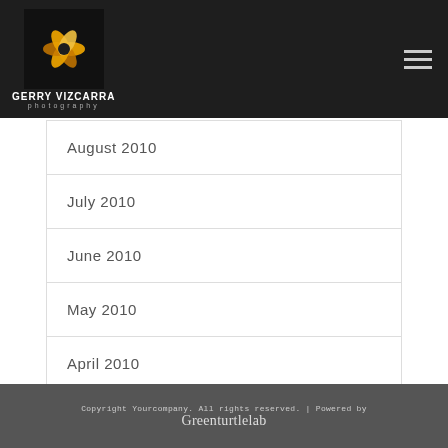[Figure (logo): Gerry Vizcarra Photography logo with camera shutter icon, name in bold white text, and 'photography' subtitle in spaced grey text on dark background]
August 2010
July 2010
June 2010
May 2010
April 2010
Copyright Yourcompany. All rights reserved. | Powered by Greenturtlelab